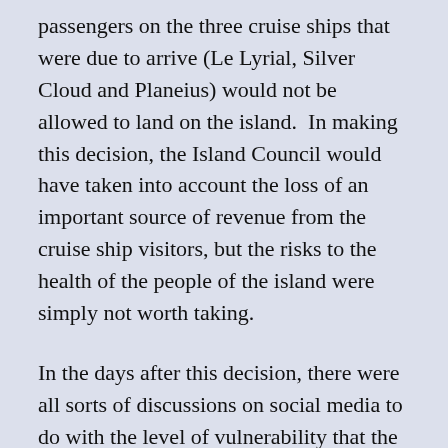passengers on the three cruise ships that were due to arrive (Le Lyrial, Silver Cloud and Planeius) would not be allowed to land on the island.  In making this decision, the Island Council would have taken into account the loss of an important source of revenue from the cruise ship visitors, but the risks to the health of the people of the island were simply not worth taking.
In the days after this decision, there were all sorts of discussions on social media to do with the level of vulnerability that the island of Tristan da Cunha experienced as a result of Corona Virus.  These discussions revolved around the potential impact of the disease in the island's population and its isolation.